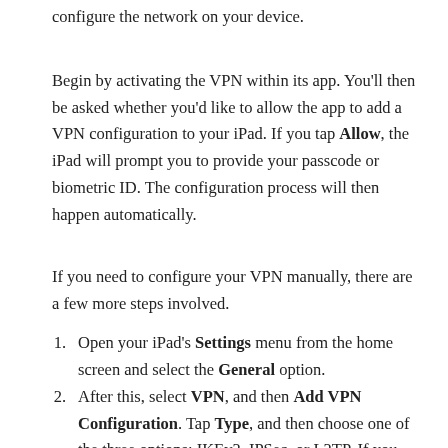configure the network on your device.
Begin by activating the VPN within its app. You'll then be asked whether you'd like to allow the app to add a VPN configuration to your iPad. If you tap Allow, the iPad will prompt you to provide your passcode or biometric ID. The configuration process will then happen automatically.
If you need to configure your VPN manually, there are a few more steps involved.
Open your iPad's Settings menu from the home screen and select the General option.
After this, select VPN, and then Add VPN Configuration. Tap Type, and then choose one of the three options: IKEv2, IPSec, or L2TP. If you